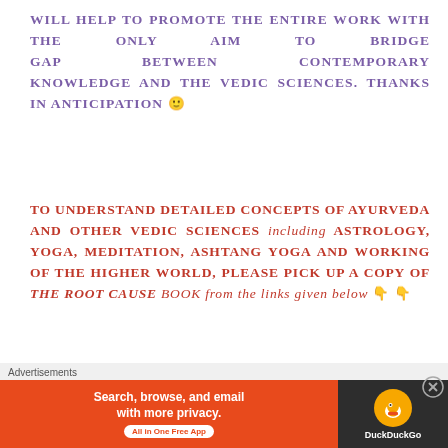WILL HELP TO PROMOTE THE ENTIRE WORK WITH THE ONLY AIM TO BRIDGE GAP BETWEEN CONTEMPORARY KNOWLEDGE AND THE VEDIC SCIENCES. THANKS IN ANTICIPATION 🙂
TO UNDERSTAND DETAILED CONCEPTS OF AYURVEDA AND OTHER VEDIC SCIENCES including ASTROLOGY, YOGA, MEDITATION, ASHTANG YOGA AND WORKING OF THE HIGHER WORLD, PLEASE PICK UP A COPY OF THE ROOT CAUSE BOOK from the links given below 👇 👇
[Figure (screenshot): DuckDuckGo advertisement banner: orange left section with text 'Search, browse, and email with more privacy. All in One Free App' and dark right section with DuckDuckGo logo]